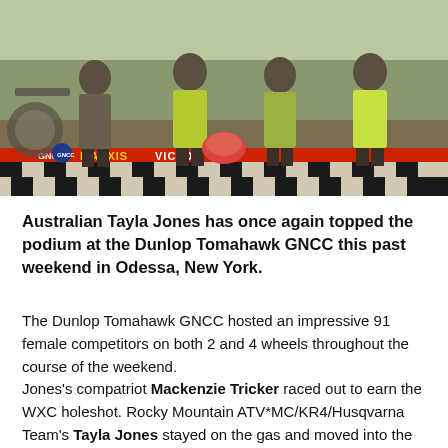[Figure (photo): Motocross riders in muddy gear standing on a podium platform at the GNCC race event. A MAXXIS VICTORY banner is visible at the bottom of the image. Dirt bikes are visible in the background.]
Australian Tayla Jones has once again topped the podium at the Dunlop Tomahawk GNCC this past weekend in Odessa, New York.
The Dunlop Tomahawk GNCC hosted an impressive 91 female competitors on both 2 and 4 wheels throughout the course of the weekend.
Jones's compatriot Mackenzie Tricker raced out to earn the WXC holeshot. Rocky Mountain ATV*MC/KR4/Husqvarna Team's Tayla Jones stayed on the gas and moved into the lead as they entered the woods, but crashed allowing for most of the class, including